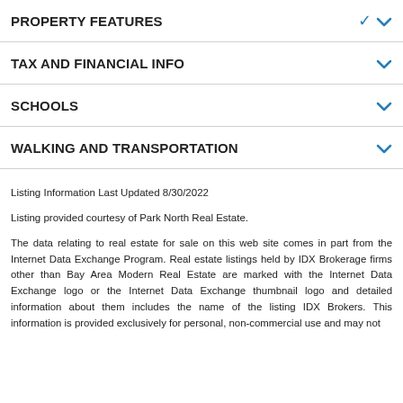PROPERTY FEATURES
TAX AND FINANCIAL INFO
SCHOOLS
WALKING AND TRANSPORTATION
Listing Information Last Updated 8/30/2022
Listing provided courtesy of Park North Real Estate.
The data relating to real estate for sale on this web site comes in part from the Internet Data Exchange Program. Real estate listings held by IDX Brokerage firms other than Bay Area Modern Real Estate are marked with the Internet Data Exchange logo or the Internet Data Exchange thumbnail logo and detailed information about them includes the name of the listing IDX Brokers. This information is provided exclusively for personal, non-commercial use and may not